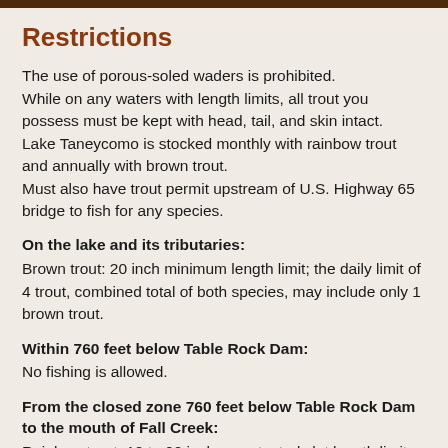Restrictions
The use of porous-soled waders is prohibited. While on any waters with length limits, all trout you possess must be kept with head, tail, and skin intact. Lake Taneycomo is stocked monthly with rainbow trout and annually with brown trout. Must also have trout permit upstream of U.S. Highway 65 bridge to fish for any species.
On the lake and its tributaries:
Brown trout: 20 inch minimum length limit; the daily limit of 4 trout, combined total of both species, may include only 1 brown trout.
Within 760 feet below Table Rock Dam:
No fishing is allowed.
From the closed zone 760 feet below Table Rock Dam to the mouth of Fall Creek:
Rainbow trout: 12 to 20 inches protected slot length limit